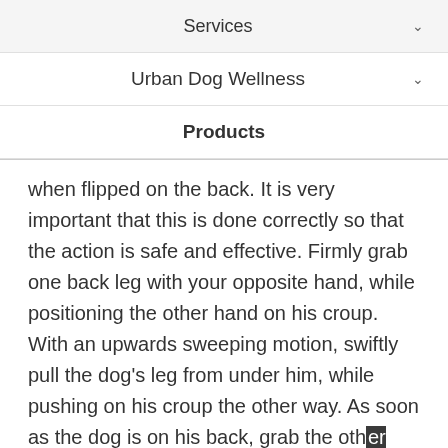Services
Urban Dog Wellness
Products
when flipped on the back. It is very important that this is done correctly so that the action is safe and effective. Firmly grab one back leg with your opposite hand, while positioning the other hand on his croup. With an upwards sweeping motion, swiftly pull the dog's leg from under him, while pushing on his croup the other way. As soon as the dog is on his back, grab the other leg with your free hand so that you are firmly holding both of the dog's legs. From this position you can control the dog so that he cannot bite you.